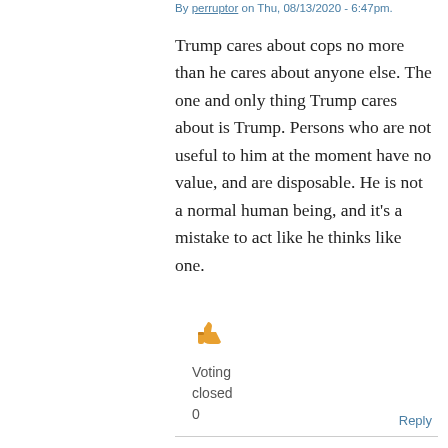By perruptor on Thu, 08/13/2020 - 6:47pm.
Trump cares about cops no more than he cares about anyone else. The one and only thing Trump cares about is Trump. Persons who are not useful to him at the moment have no value, and are disposable. He is not a normal human being, and it's a mistake to act like he thinks like one.
[Figure (illustration): Orange thumbs-up emoji icon]
Voting closed
0
Reply
My President?
By StillFromDorchester on Thu, 08/13/2020 -